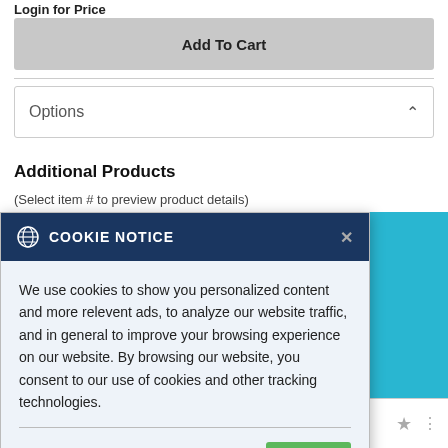Login for Price
Add To Cart
Options
Additional Products
(Select item # to preview product details)
COOKIE NOTICE
We use cookies to show you personalized content and more relevent ads, to analyze our website traffic, and in general to improve your browsing experience on our website. By browsing our website, you consent to our use of cookies and other tracking technologies.
OK
Price:  Login for Price